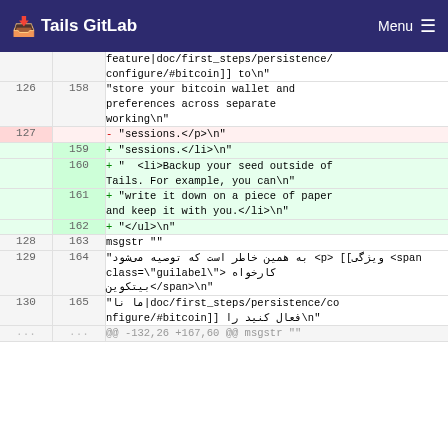Tails GitLab  Menu
| old | new | code |
| --- | --- | --- |
|  |  | feature|doc/first_steps/persistence/configure/#bitcoin]] to\n" |
| 126 | 158 | "store your bitcoin wallet and preferences across separate working\n" |
| 127 |  | - "sessions.</p>\n" |
|  | 159 | + "sessions.</li>\n" |
|  | 160 | + "  <li>Backup your seed outside of Tails. For example, you can\n" |
|  | 161 | + "write it down on a piece of paper and keep it with you.</li>\n" |
|  | 162 | + "</ul>\n" |
| 128 | 163 | msgstr "" |
| 129 | 164 | "به همین خاطر است که توصیه می‌شود <p> [[ ویژگی <span class=\"guilabel\"> کارخواه بیتکوین</span>\n" |
| 130 | 165 | "ما نا|doc/first_steps/persistence/configure/#bitcoin]] فعال کنید را\n" |
| ... | ... | @@ -132,26 +167,60 @@ msgstr "" |